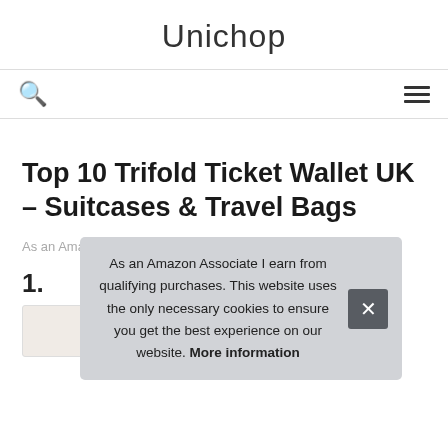Unichop
Top 10 Trifold Ticket Wallet UK – Suitcases & Travel Bags
As an Amazon Associate I earn from qualifying purchases.
1.
As an Amazon Associate I earn from qualifying purchases. This website uses the only necessary cookies to ensure you get the best experience on our website. More information